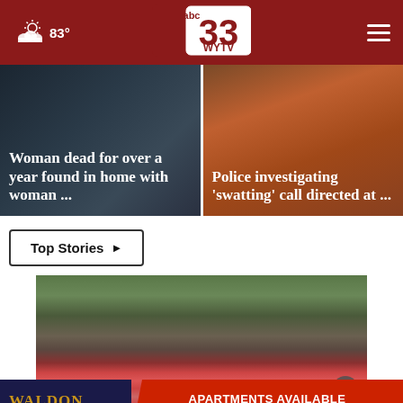83° | abc 33 WYTV logo | hamburger menu
[Figure (screenshot): News card: Woman dead for over a year found in home with woman ...]
[Figure (screenshot): News card: Police investigating 'swatting' call directed at ...]
Top Stories ›
[Figure (photo): Person walking outdoors, wearing denim shorts and red shoes]
[Figure (infographic): Advertisement: WALDON MANAGEMENT – APARTMENTS AVAILABLE CONTACT US NOW!]